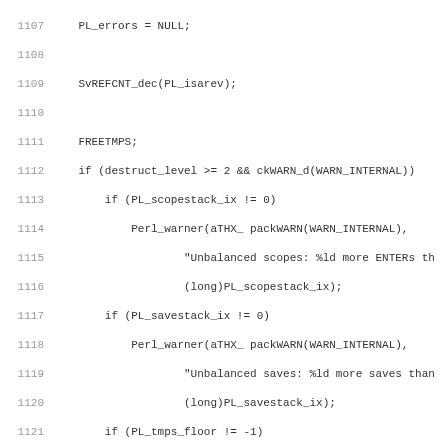[Figure (screenshot): Source code listing in C/Perl showing lines 1107-1138 of a program. The code includes memory management and cleanup operations such as setting PL_errors to NULL, decrementing reference counts, freeing temporaries, checking scope/save/tmps/cxstack conditions with warnings, destructing everything, cleaning all SVs, and managing PL_fdpid.]